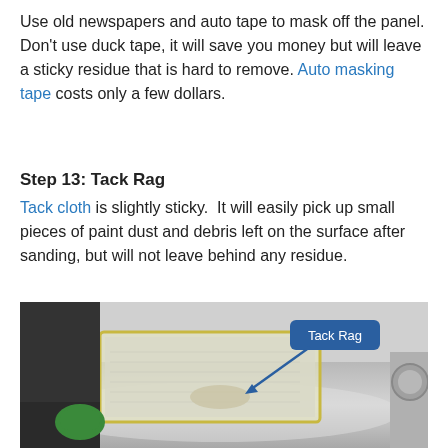Use old newspapers and auto tape to mask off the panel. Don't use duck tape, it will save you money but will leave a sticky residue that is hard to remove. Auto masking tape costs only a few dollars.
Step 13: Tack Rag
Tack cloth is slightly sticky. It will easily pick up small pieces of paint dust and debris left on the surface after sanding, but will not leave behind any residue.
[Figure (photo): Photo of a person wearing gloves using a tack rag on a silver car panel that has been masked with tape and newspaper. A blue callout label reads 'Tack Rag' with an arrow pointing to the cloth.]